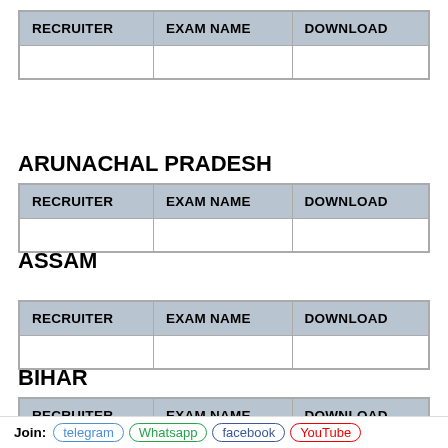| RECRUITER | EXAM NAME | DOWNLOAD |
| --- | --- | --- |
|   |   |   |
ARUNACHAL PRADESH
| RECRUITER | EXAM NAME | DOWNLOAD |
| --- | --- | --- |
|   |   |   |
ASSAM
| RECRUITER | EXAM NAME | DOWNLOAD |
| --- | --- | --- |
|   |   |   |
BIHAR
| RECRUITER | EXAM NAME | DOWNLOAD |
| --- | --- | --- |
|   |   |   |
Join: telegram Whatsapp facebook YouTube